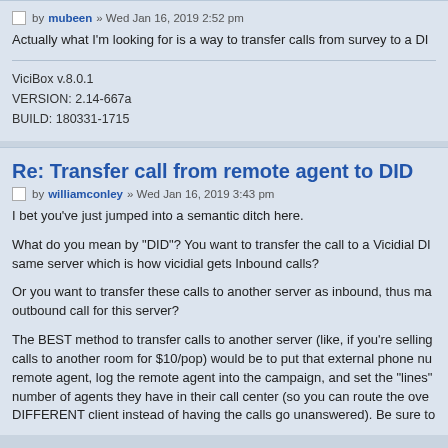by mubeen » Wed Jan 16, 2019 2:52 pm
Actually what I'm looking for is a way to transfer calls from survey to a DI
ViciBox v.8.0.1
VERSION: 2.14-667a
BUILD: 180331-1715
Re: Transfer call from remote agent to DID
by williamconley » Wed Jan 16, 2019 3:43 pm
I bet you've just jumped into a semantic ditch here.
What do you mean by "DID"? You want to transfer the call to a Vicidial DI same server which is how vicidial gets Inbound calls?
Or you want to transfer these calls to another server as inbound, thus ma outbound call for this server?
The BEST method to transfer calls to another server (like, if you're selling calls to another room for $10/pop) would be to put that external phone nu remote agent, log the remote agent into the campaign, and set the "lines" number of agents they have in their call center (so you can route the ove DIFFERENT client instead of having the calls go unanswered). Be sure to